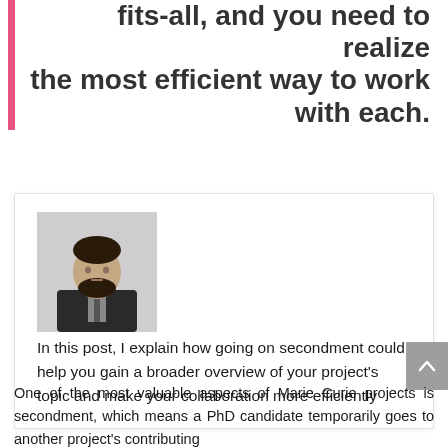fits-all, and you need to realize the most efficient way to work with each.
[Figure (photo): Headshot photo of a man in a dark suit with a beard, used as author profile photo]
In this post, I explain how going on secondment could help you gain a broader overview of your project's topic and make your collaboration more efficiently
One of the most valuable aspects of Marie Curie projects is secondment, which means a PhD candidate temporarily goes to another project's contributing